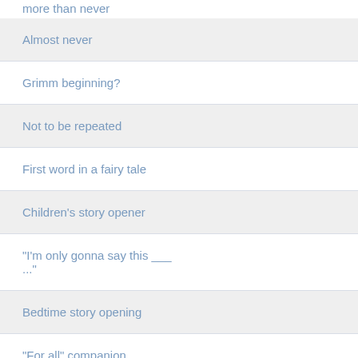more than never
Almost never
Grimm beginning?
Not to be repeated
First word in a fairy tale
Children's story opener
"I'm only gonna say this ___ ..."
Bedtime story opening
"For all" companion
"Fool me ___, shame on you ..."